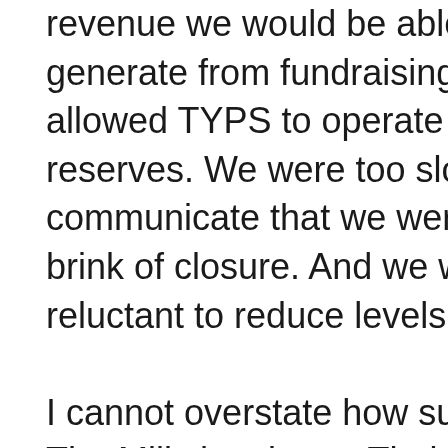revenue we would be able to generate from fundraising. We allowed TYPS to operate without any reserves. We were too slow to communicate that we were on the brink of closure. And we were too reluctant to reduce levels of service.

I cannot overstate how supportive The Mills has been. Their leadership and competency in community development is an incredible